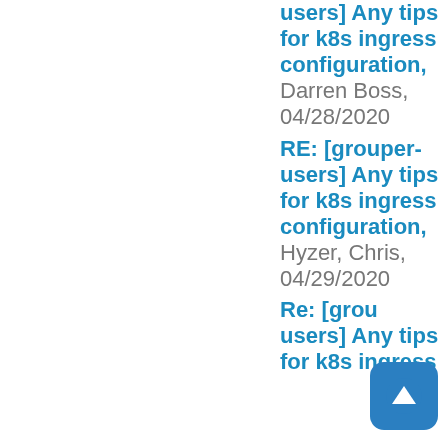users] Any tips for k8s ingress configuration, Darren Boss, 04/28/2020
RE: [grouper-users] Any tips for k8s ingress configuration, Hyzer, Chris, 04/29/2020
Re: [grouper-users] Any tips for k8s ingress